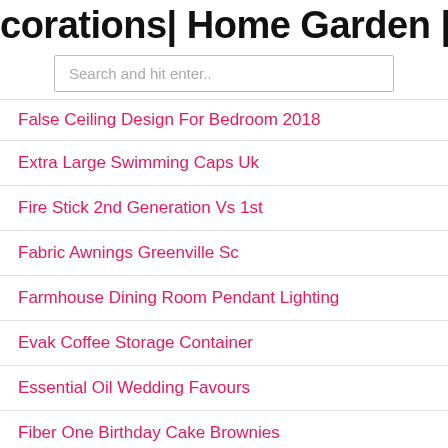corations| Home Garden | Home Fa
Search and hit enter..
False Ceiling Design For Bedroom 2018
Extra Large Swimming Caps Uk
Fire Stick 2nd Generation Vs 1st
Fabric Awnings Greenville Sc
Farmhouse Dining Room Pendant Lighting
Evak Coffee Storage Container
Essential Oil Wedding Favours
Fiber One Birthday Cake Brownies
Facia First Siding
Fitflop Micro Wobble Board